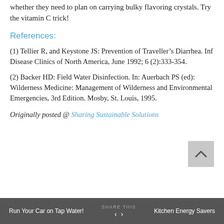whether they need to plan on carrying bulky flavoring crystals. Try the vitamin C trick!
References:
(1) Tellier R, and Keystone JS: Prevention of Traveller’s Diarrhea. Inf Disease Clinics of North America, June 1992; 6 (2):333-354.
(2) Backer HD: Field Water Disinfection. In: Auerbach PS (ed): Wilderness Medicine: Management of Wilderness and Environmental Emergencies, 3rd Edition. Mosby, St. Louis, 1995.
Originally posted @ Sharing Sustainable Solutions
Run Your Car on Tap Water!  ‹  ›  Kitchen Energy Savers